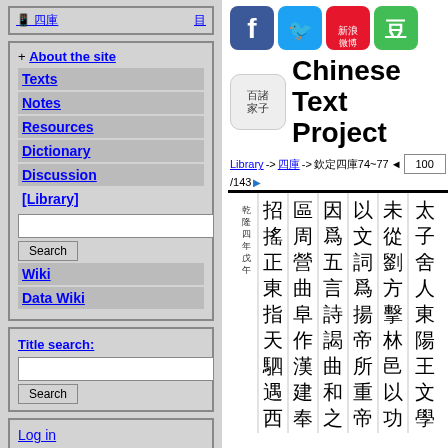[Figure (screenshot): Top bar of sidebar with icons]
+ About the site
Texts
Notes
Resources
Dictionary
Discussion
[Library]
Search (search input)
Wiki
Data Wiki
Title search: (input) Search
Log in
[Figure (logo): Social media icons: Facebook, Twitter, Sina Weibo, Douban]
Chinese Text Project
Library -> 四庫 -> 欽定四庫74~77 ◄ 100 /143 ►
[Figure (illustration): Classical Chinese text displayed in vertical columns with traditional characters]